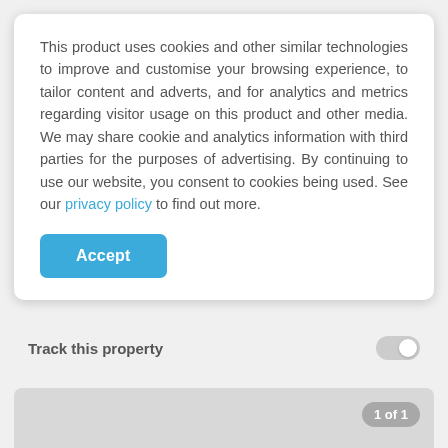This product uses cookies and other similar technologies to improve and customise your browsing experience, to tailor content and adverts, and for analytics and metrics regarding visitor usage on this product and other media. We may share cookie and analytics information with third parties for the purposes of advertising. By continuing to use our website, you consent to cookies being used. See our privacy policy to find out more.
Accept
Year Built: 1985
Track this property
[Figure (screenshot): Gray image placeholder area with '1 of 1' counter badge in upper right]